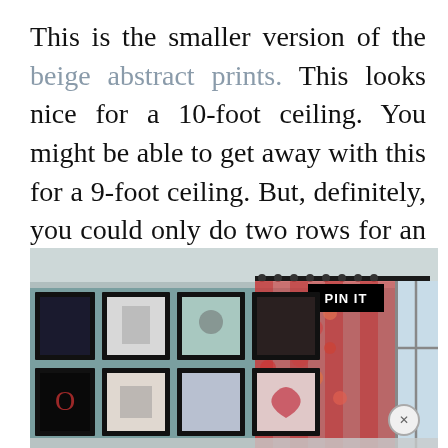This is the smaller version of the beige abstract prints. This looks nice for a 10-foot ceiling. You might be able to get away with this for a 9-foot ceiling. But, definitely, you could only do two rows for an 8-foot ceiling.
[Figure (photo): Interior room photo showing a gallery wall of framed artwork arranged in two rows on a teal/blue-grey painted wall, with floral curtains on a black rod and a window on the right. A 'PIN IT' badge overlays the top right of the image.]